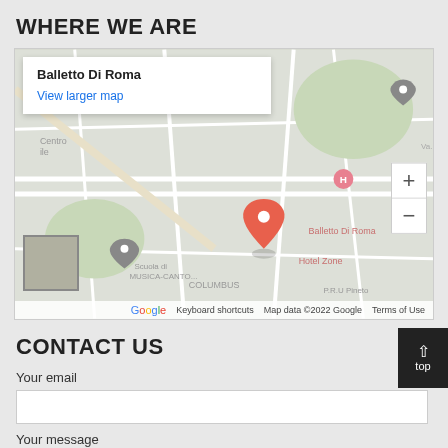WHERE WE ARE
[Figure (map): Google Maps embed showing location of Balletto Di Roma in Rome. Map popup shows 'Balletto Di Roma' with 'View larger map' link. Map shows surrounding area including Scuola di MUSICA-CANTO, Hotel Zone, COLUMBUS, P.R.U. Pineto. Zoom controls visible. Google logo and attribution at bottom. Thumbnail inset at bottom left.]
CONTACT US
Your email
Your message